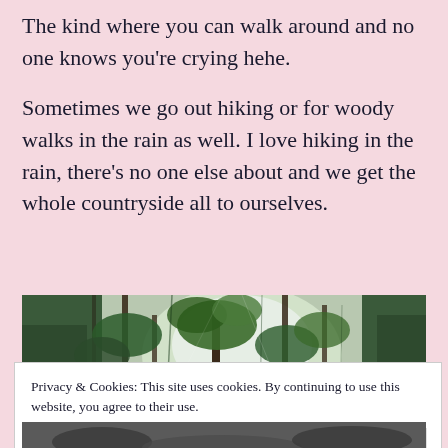The kind where you can walk around and no one knows you're crying hehe.

Sometimes we go out hiking or for woody walks in the rain as well. I love hiking in the rain, there's no one else about and we get the whole countryside all to ourselves.
[Figure (photo): A forest scene viewed from below looking up at tall trees and dense green vegetation, with light visible through the canopy. Rain and misty atmosphere.]
Privacy & Cookies: This site uses cookies. By continuing to use this website, you agree to their use.
To find out more, including how to control cookies, see here: Cookie Policy
Close and accept
[Figure (photo): Partial view of another outdoor/nature photo at the bottom of the page.]